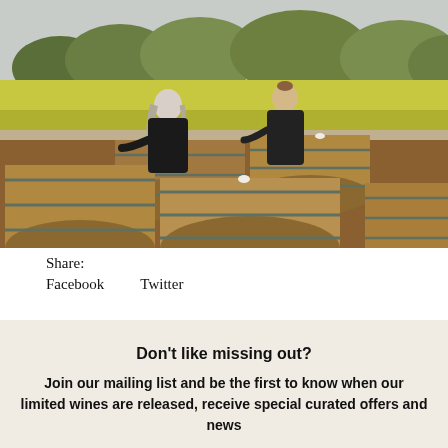[Figure (photo): Two women in dark jackets standing behind large wooden wine barrels outdoors, with green vineyard and trees in the background under an overcast sky.]
Share:
Facebook    Twitter
Don't like missing out?
Join our mailing list and be the first to know when our limited wines are released, receive special curated offers and news